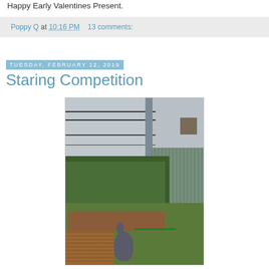Happy Early Valentines Present.
Poppy Q at 10:16 PM   13 comments:
Tuesday, February 12, 2019
Staring Competition
[Figure (photo): Outdoor backyard photo showing an apartment building with balconies in the background, a green hedge/vine along a fence, a corrugated metal fence on the right, a wooden deck in the foreground, garden beds, a garden hose on the ground, and what appears to be a cat sitting at the bottom center of the image looking into the yard.]